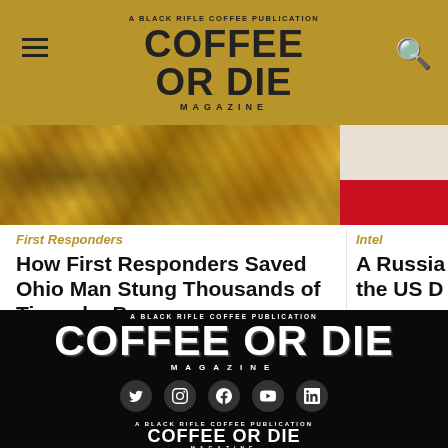COFFEE OR DIE MAGAZINE — A BLACK RIFLE COFFEE PUBLICATION
[Figure (photo): Close-up photograph of bees on honeycomb (left), and partial image of a person near a red flag (right)]
First Responders
How First Responders Saved Ohio Man Stung Thousands of Times by Bees
Austin Bellamy has awakened from a medically induced coma.
September 1, 2022  ·  Noelle Wiehe
Intel
A Russian… the US D…
Officials i… Lukoil bo…
September 1,
COFFEE OR DIE MAGAZINE — A BLACK RIFLE COFFEE PUBLICATION